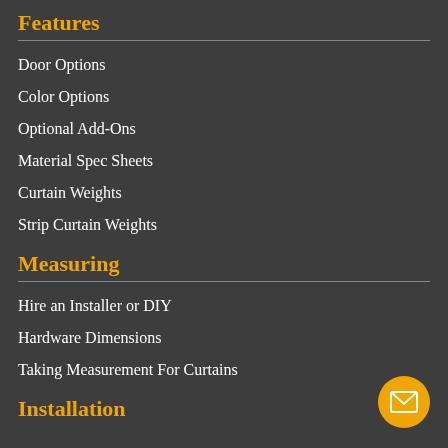Features
Door Options
Color Options
Optional Add-Ons
Material Spec Sheets
Curtain Weights
Strip Curtain Weights
Measuring
Hire an Installer or DIY
Hardware Dimensions
Taking Measurement For Curtains
Installation